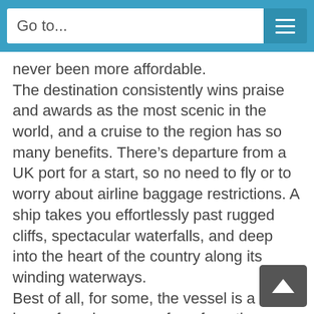Go to...
never been more affordable.
The destination consistently wins praise and awards as the most scenic in the world, and a cruise to the region has so many benefits. There’s departure from a UK port for a start, so no need to fly or to worry about airline baggage restrictions. A ship takes you effortlessly past rugged cliffs, spectacular waterfalls, and deep into the heart of the country along its winding waterways.
Best of all, for some, the vessel is a home-from-home, a refuge from the almost criminally high prices extorted for snacks and drinks ashore. It cost me the best part of £28 for two pints of lager and a packet of nuts last time I looked – that was a while ago and while my wallet (and heartbeat) are